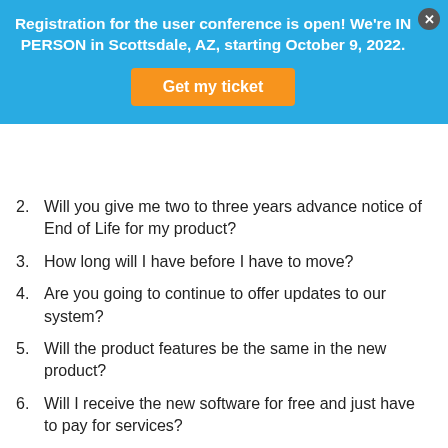Registration for the user conference is open! We're IN PERSON in Scottsdale, AZ, starting October 9, 2022.
2. Will you give me two to three years advance notice of End of Life for my product?
3. How long will I have before I have to move?
4. Are you going to continue to offer updates to our system?
5. Will the product features be the same in the new product?
6. Will I receive the new software for free and just have to pay for services?
7. How will my historical data be converted?
8. Can I convert a portion of my system to the new product or do I have to jump to the new product completely?